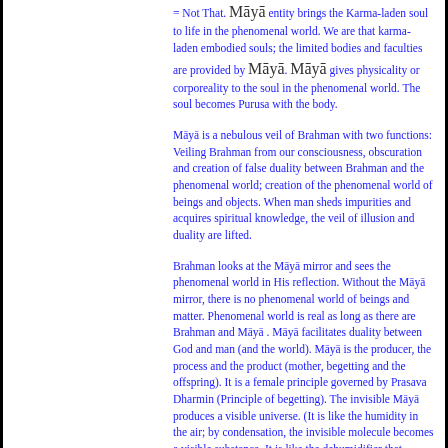= Not That. Māyā entity brings the Karma-laden soul to life in the phenomenal world. We are that karma-laden embodied souls; the limited bodies and faculties are provided by Māyā. Māyā gives physicality or corporeality to the soul in the phenomenal world. The soul becomes Purusa with the body.
Māyā is a nebulous veil of Brahman with two functions: Veiling Brahman from our consciousness, obscuration and creation of false duality between Brahman and the phenomenal world; creation of the phenomenal world of beings and objects. When man sheds impurities and acquires spiritual knowledge, the veil of illusion and duality are lifted.
Brahman looks at the Māyā mirror and sees the phenomenal world in His reflection. Without the Māyā mirror, there is no phenomenal world of beings and matter. Phenomenal world is real as long as there are Brahman and Māyā . Māyā facilitates duality between God and man (and the world). Māyā is the producer, the process and the product (mother, begetting and the offspring). It is a female principle governed by Prasava Dharmin (Principle of begetting). The invisible Māyā produces a visible universe. (It is like the humidity in the air; by condensation, the invisible molecule becomes a visible substance. It is like the dehumidifier that extracts water from the empty